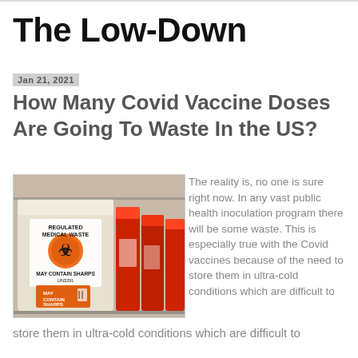The Low-Down
Jan 21, 2021
How Many Covid Vaccine Doses Are Going To Waste In the US?
[Figure (photo): Photo of regulated medical waste sharps containers on a shelf, red containers labeled 'REGULATED MEDICAL WASTE' and 'MAY CONTAIN SHARPS UN3291']
The reality is, no one is sure right now. In any vast public health inoculation program there will be some waste. This is especially true with the Covid vaccines because of the need to store them in ultra-cold conditions which are difficult to